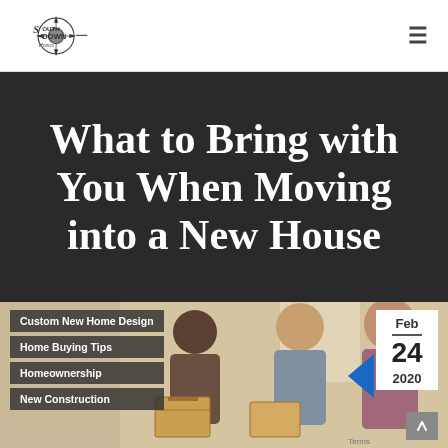[Figure (logo): Southdown Homes compass logo with text]
What to Bring with You When Moving into a New House
[Figure (photo): Photo of people carrying moving boxes into a new home]
Custom New Home Design
Home Buying Tips
Homeownership
New Construction
Feb 24 2020